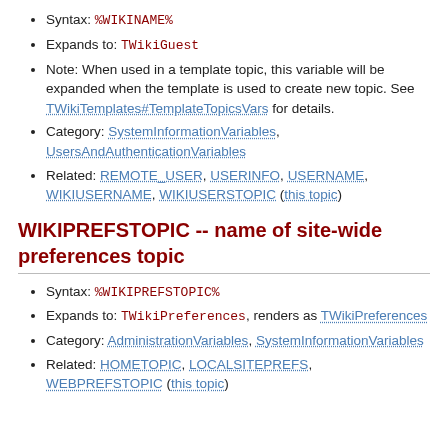Syntax: %WIKINAME%
Expands to: TWikiGuest
Note: When used in a template topic, this variable will be expanded when the template is used to create new topic. See TWikiTemplates#TemplateTopicsVars for details.
Category: SystemInformationVariables, UsersAndAuthenticationVariables
Related: REMOTE_USER, USERINFO, USERNAME, WIKIUSERNAME, WIKIUSERSTOPIC (this topic)
WIKIPREFSTOPIC -- name of site-wide preferences topic
Syntax: %WIKIPREFSTOPIC%
Expands to: TWikiPreferences, renders as TWikiPreferences
Category: AdministrationVariables, SystemInformationVariables
Related: HOMETOPIC, LOCALSITEPREFS, WEBPREFSTOPIC (this topic)